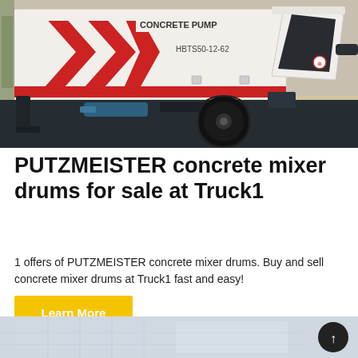[Figure (photo): A white PUTZMEISTER concrete pump machine labeled HBTS50-12-62 with red chevron stripes, dark chassis, large black wheel, and a hopper on the right side, photographed outdoors.]
PUTZMEISTER concrete mixer drums for sale at Truck1
1 offers of PUTZMEISTER concrete mixer drums. Buy and sell concrete mixer drums at Truck1 fast and easy!
Learn More
[Figure (photo): Partial view of a building or industrial structure with a light blue-grey tint at the bottom of the page.]